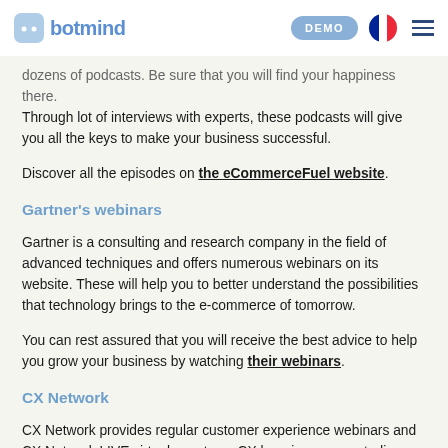botmind | DEMO
dozens of podcasts. Be sure that you will find your happiness there. Through lot of interviews with experts, these podcasts will give you all the keys to make your business successful.
Discover all the episodes on the eCommerceFuel website.
Gartner's webinars
Gartner is a consulting and research company in the field of advanced techniques and offers numerous webinars on its website. These will help you to better understand the possibilities that technology brings to the e-commerce of tomorrow.
You can rest assured that you will receive the best advice to help you grow your business by watching their webinars.
CX Network
CX Network provides regular customer experience webinars and CX Network LIVE virtual events on CX learnings, case studies, best practices and more.